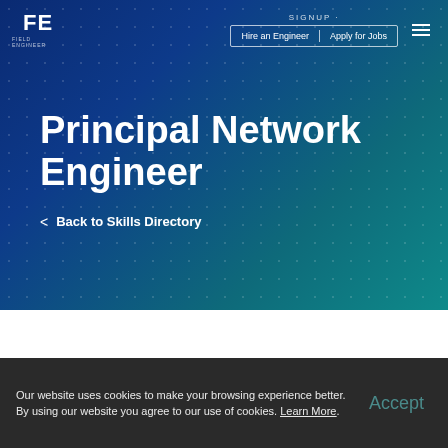FE | SIGNUP | Hire an Engineer | Apply for Jobs
Principal Network Engineer
< Back to Skills Directory
Our website uses cookies to make your browsing experience better. By using our website you agree to our use of cookies. Learn More.
Accept